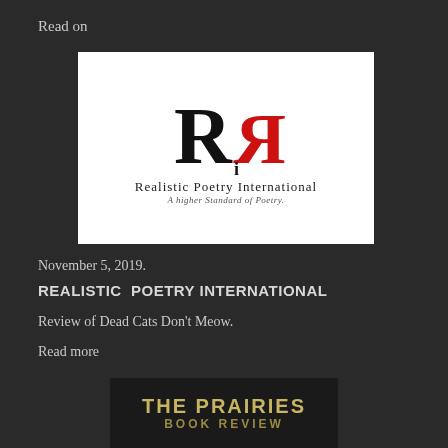Read on
[Figure (logo): Realistic Poetry International logo — stylized R and reversed-R letterforms in black and red, with text 'Realistic Poetry International' and tagline 'A higher Standard of Poetry.']
November 5, 2019.
REALISTIC  POETRY INTERNATIONAL
Review of Dead Cats Don't Meow.
Read more
[Figure (photo): The Prairies Book Review magazine cover — title 'THE PRAIRIES BOOK REVIEW' in gold/olive lettering on a dark background, with issue number and April 2019 date at the bottom.]